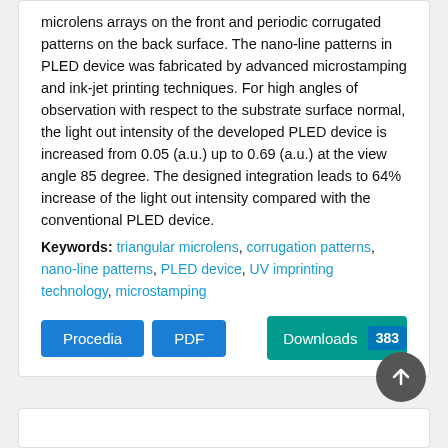microlens arrays on the front and periodic corrugated patterns on the back surface. The nano-line patterns in PLED device was fabricated by advanced microstamping and ink-jet printing techniques. For high angles of observation with respect to the substrate surface normal, the light out intensity of the developed PLED device is increased from 0.05 (a.u.) up to 0.69 (a.u.) at the view angle 85 degree. The designed integration leads to 64% increase of the light out intensity compared with the conventional PLED device.
Keywords: triangular microlens, corrugation patterns, nano-line patterns, PLED device, UV imprinting technology, microstamping